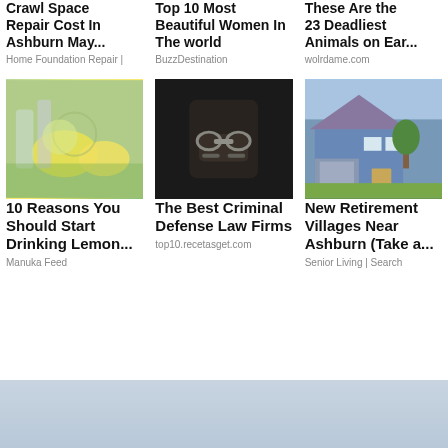Crawl Space Repair Cost In Ashburn May...
Home Foundation Repair |
Top 10 Most Beautiful Women In The world
BuzzDestination
These Are the 23 Deadliest Animals on Ear...
wolrdame.com
[Figure (photo): Green drinks with lemon, cucumber and mint]
10 Reasons You Should Start Drinking Lemon...
Manuka Feed
[Figure (photo): Hands in handcuffs on dark background]
The Best Criminal Defense Law Firms
top10.recetasget.com
[Figure (photo): Blue suburban house exterior]
New Retirement Villages Near Ashburn (Take a...
Senior Living | Search
by Ta